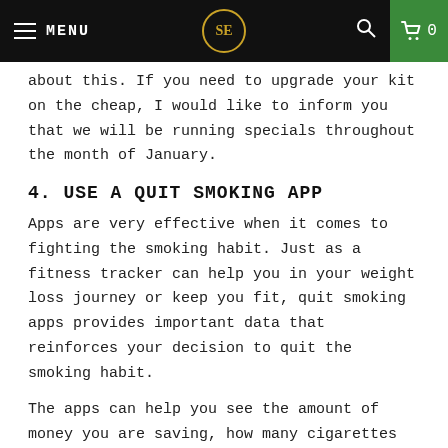MENU | SE logo | Search | Cart 0
about this. If you need to upgrade your kit on the cheap, I would like to inform you that we will be running specials throughout the month of January.
4. USE A QUIT SMOKING APP
Apps are very effective when it comes to fighting the smoking habit. Just as a fitness tracker can help you in your weight loss journey or keep you fit, quit smoking apps provides important data that reinforces your decision to quit the smoking habit.
The apps can help you see the amount of money you are saving, how many cigarettes you have not smoked and other data that can help you track your activity. We also have our own quit smoking app just like the NHS.
5. GO FOR GRADUAL REDUCTION
As we enter the New Year, decide to quit by numbers if you find it